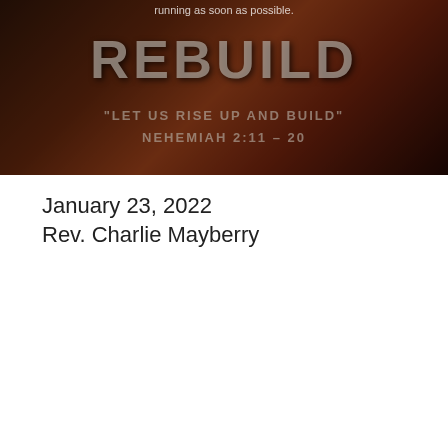[Figure (screenshot): Top video player screenshot showing a dark reddish-brown background with the word REBUILD in large distressed letters and subtitle 'LET US RISE UP AND BUILD' NEHEMIAH 2:11-20. A player error message overlay says 'The player is having trouble. We’ll have it back up and running as soon as possible.']
January 23, 2022
Rev. Charlie Mayberry
[Figure (screenshot): Bottom video player screenshot with dark red/orange background showing 'REBUILD' in large letters, 'FOR SUCH A TIME AS THIS' and 'NEHEMIAH 2:1-10'. Overlay tooltip shows: Title 'FBC Waycross Sunday Morning Livestream - January 23, 2022: "For Such a Time as This" - Neh. 2:1-10', channel 'First Baptist Church Waycross', and player error message 'The player is having trouble. We’ll have it back up and running as soon as possible.']